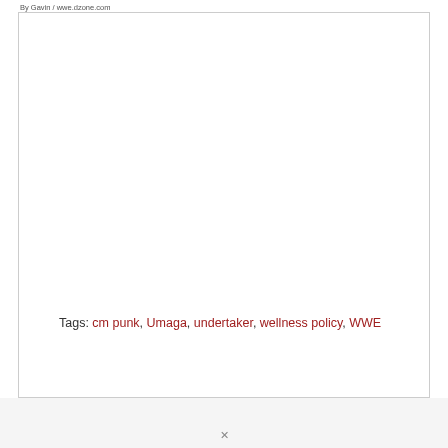By Gavin / wwe.dzone.com
Tags: cm punk, Umaga, undertaker, wellness policy, WWE